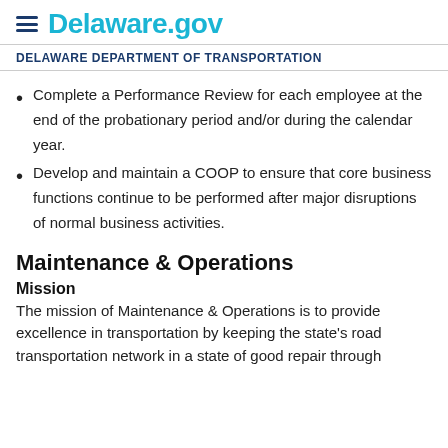Delaware.gov
DELAWARE DEPARTMENT OF TRANSPORTATION
Complete a Performance Review for each employee at the end of the probationary period and/or during the calendar year.
Develop and maintain a COOP to ensure that core business functions continue to be performed after major disruptions of normal business activities.
Maintenance & Operations
Mission
The mission of Maintenance & Operations is to provide excellence in transportation by keeping the state's road transportation network in a state of good repair through